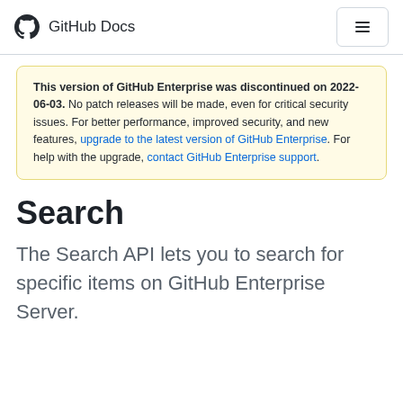GitHub Docs
This version of GitHub Enterprise was discontinued on 2022-06-03. No patch releases will be made, even for critical security issues. For better performance, improved security, and new features, upgrade to the latest version of GitHub Enterprise. For help with the upgrade, contact GitHub Enterprise support.
Search
The Search API lets you to search for specific items on GitHub Enterprise Server.